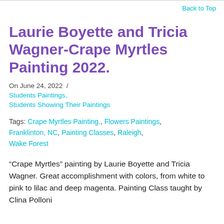Back to Top
Laurie Boyette and Tricia Wagner-Crape Myrtles Painting 2022.
On June 24, 2022  /
Students Paintings,
Students Showing Their Paintings
Tags: Crape Myrtles Painting., Flowers Paintings, Franklinton, NC, Painting Classes, Raleigh, Wake Forest
“Crape Myrtles” painting by Laurie Boyette and Tricia Wagner. Great accomplishment with colors, from white to pink to lilac and deep magenta. Painting Class taught by Clina Polloni